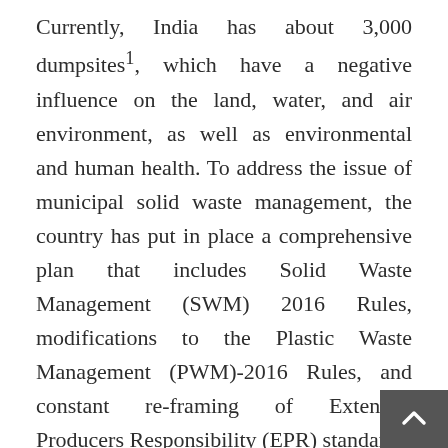Currently, India has about 3,000 dumpsites1, which have a negative influence on the land, water, and air environment, as well as environmental and human health. To address the issue of municipal solid waste management, the country has put in place a comprehensive plan that includes Solid Waste Management (SWM) 2016 Rules, modifications to the Plastic Waste Management (PWM)-2016 Rules, and constant re-framing of Extended Producers Responsibility (EPR) standards.
According to the Central Pollution Control Board (CPCB) 2019-2020 Annual Report, only 48.5% of the total collected waste gets treated2, while t